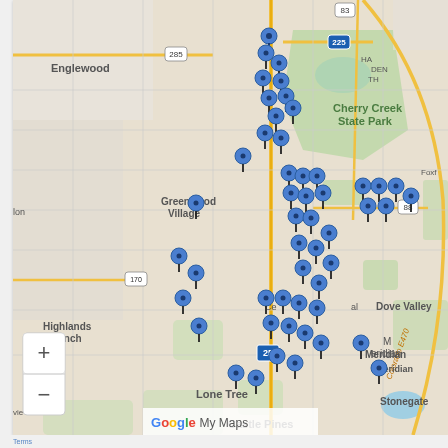[Figure (map): Google My Maps screenshot showing the Denver, Colorado metro area south suburbs including Englewood, Greenwood Village, Cherry Creek State Park, Highlands Ranch, Lone Tree, Dove Valley, Meridian, Stonegate, Castle Pines areas. Numerous blue map pin markers are clustered in the central area around Centennial/Lone Tree/Greenwood Village. Road networks, highways (83, 225, 25, 285, 88, 170), and geographic features are visible. A zoom control (+/-) is shown in the lower left. Google My Maps branding appears at the bottom.]
Terms